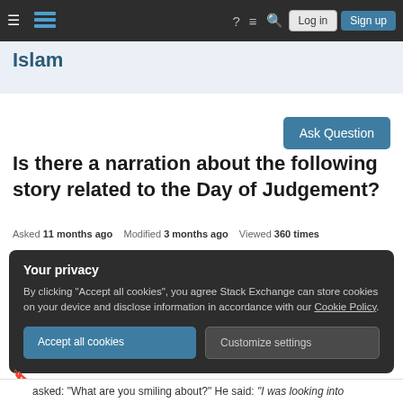Islam Stack Exchange navigation bar with Log in and Sign up buttons
Islam
Ask Question
Is there a narration about the following story related to the Day of Judgement?
Asked 11 months ago   Modified 3 months ago   Viewed 360 times
Your privacy
By clicking "Accept all cookies", you agree Stack Exchange can store cookies on your device and disclose information in accordance with our Cookie Policy.
Accept all cookies   Customize settings
asked: "What are you smiling about?" He said: "I was looking into